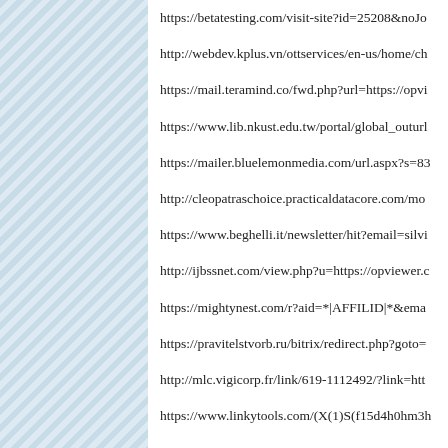https://betatesting.com/visit-site?id=25208&noJo
http://webdev.kplus.vn/ottservices/en-us/home/ch
https://mail.teramind.co/fwd.php?url=https://opvi
https://www.lib.nkust.edu.tw/portal/global_outurl
https://mailer.bluelemonmedia.com/url.aspx?s=83
http://cleopatraschoice.practicaldatacore.com/mo
https://www.beghelli.it/newsletter/hit?email=silvi
http://ijbssnet.com/view.php?u=https://opviewer.c
https://mightynest.com/r?aid=*|AFFILID|*&ema
https://pravitelstvorb.ru/bitrix/redirect.php?goto=
http://mlc.vigicorp.fr/link/619-1112492/?link=htt
https://www.linkytools.com/(X(1)S(f15d4h0hm3h